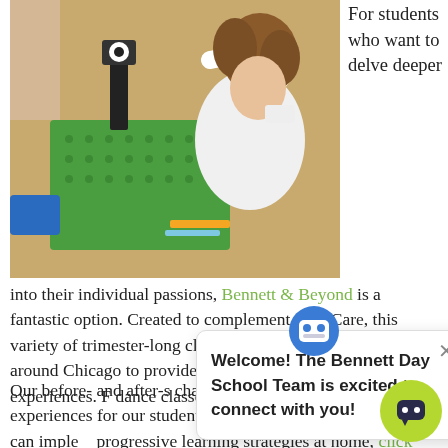[Figure (photo): A child working with LEGO robotics and building blocks at a table, another student visible in background.]
For students who want to delve deeper into their individual passions, Bennett & Beyond is a fantastic option. Created to complement AfterCare, this variety of trimester-long classes brings experts in from around Chicago to provide truly unique and valuable experiences. From dance classes and social skills and coding, there's opportunities for all.
Our before- and after-school programming is always changing to provide the best experiences for our students. To learn more about how you can implement progressive learning strategies at home, click here.
[Figure (screenshot): Chat popup overlay: icon with robot face, close X button, text 'Welcome! The Bennett Day School Team is excited to connect with you!']
[Figure (other): Chat button: yellow-green circle with chat icon in bottom right corner]